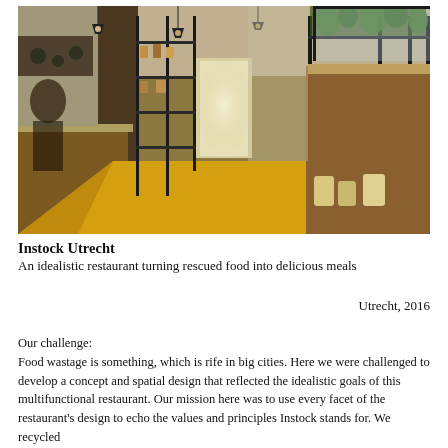[Figure (photo): Interior of Instock Utrecht restaurant showing a long hallway with yellow floor, industrial metal shelving units filled with plants and jars, hanging pendant lights, wooden counter on the left side, and a door at the far end letting in natural light.]
Instock Utrecht
An idealistic restaurant turning rescued food into delicious meals
Utrecht, 2016
Our challenge:
Food wastage is something, which is rife in big cities. Here we were challenged to develop a concept and spatial design that reflected the idealistic goals of this multifunctional restaurant. Our mission here was to use every facet of the restaurant's design to echo the values and principles Instock stands for. We recycled